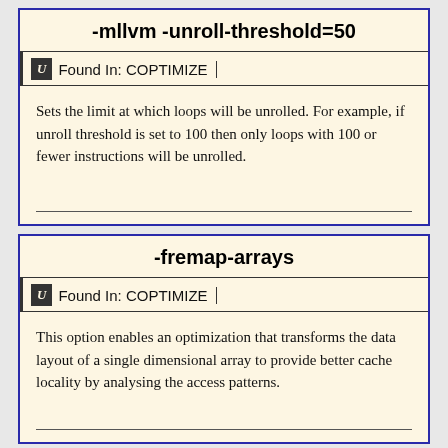-mllvm -unroll-threshold=50
Found In: COPTIMIZE
Sets the limit at which loops will be unrolled. For example, if unroll threshold is set to 100 then only loops with 100 or fewer instructions will be unrolled.
-fremap-arrays
Found In: COPTIMIZE
This option enables an optimization that transforms the data layout of a single dimensional array to provide better cache locality by analysing the access patterns.